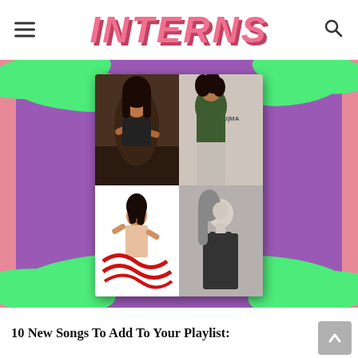INTERNS
[Figure (photo): Collage of four music album covers arranged in a 2x2 grid on a purple background with green organic blob shapes and pink vertical bars on the sides. Top-left: dark-haired female singer leaning on a car. Top-right: MUMA album cover showing a woman with curly hair. Bottom-left: red graphic text art with a female figure. Bottom-right: black and white photo of a female model in a black top.]
10 New Songs To Add To Your Playlist: